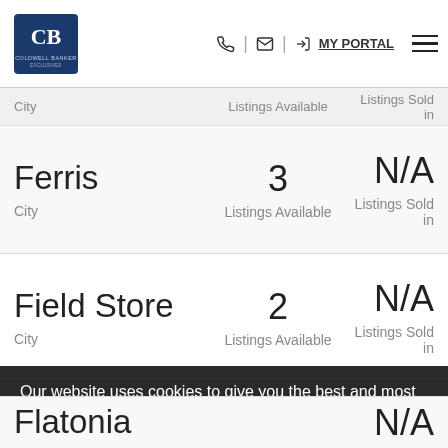[Figure (logo): Coldwell Banker logo — blue square with CB monogram]
phone | email | MY PORTAL  ☰
| City | Listings Available | Listings Sold in |
| --- | --- | --- |
| Ferris | 3 Listings Available | N/A Listings Sold in |
| Field Store | 2 Listings Available | N/A Listings Sold in |
| Fle... | 193 Listings Available | N/A Listings Sold in |
| Flatonia |  | N/A |
Our website uses cookies to give you the best and most relevant experience. By continuing to access this site, you consent to our use of cookies.
I Accept